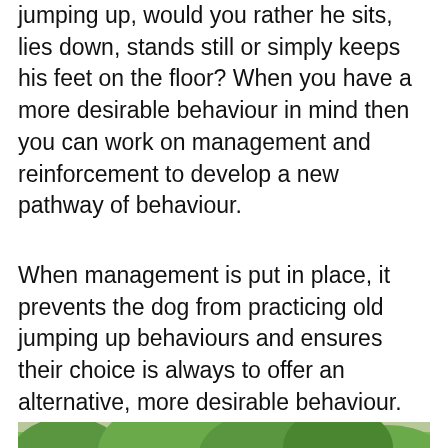jumping up, would you rather he sits, lies down, stands still or simply keeps his feet on the floor? When you have a more desirable behaviour in mind then you can work on management and reinforcement to develop a new pathway of behaviour.
When management is put in place, it prevents the dog from practicing old jumping up behaviours and ensures their choice is always to offer an alternative, more desirable behaviour.
[Figure (photo): A woman with curly hair leaning down to interact with a German Shepherd dog outdoors, with a wooden fence and green grass/bushes in the background. A purple chat bubble icon is overlaid in the bottom right of the image.]